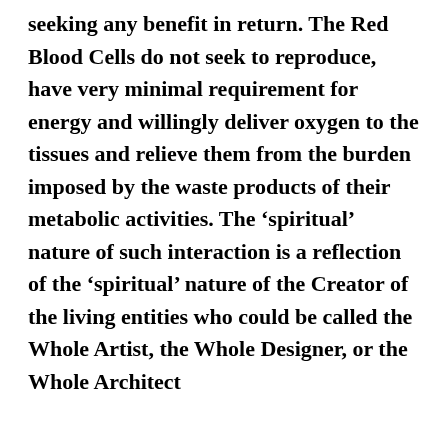seeking any benefit in return. The Red Blood Cells do not seek to reproduce, have very minimal requirement for energy and willingly deliver oxygen to the tissues and relieve them from the burden imposed by the waste products of their metabolic activities. The ‘spiritual’ nature of such interaction is a reflection of the ‘spiritual’ nature of the Creator of the living entities who could be called the Whole Artist, the Whole Designer, or the Whole Architect